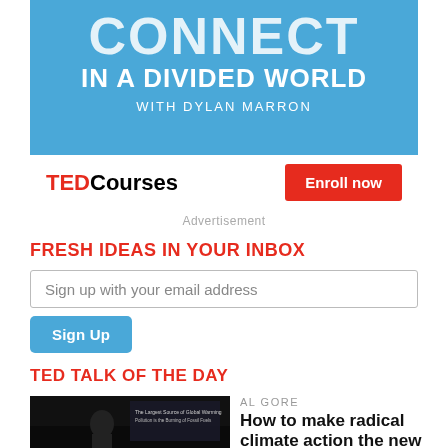[Figure (screenshot): TED Courses advertisement banner with blue background. Top section shows stylized text 'CONNECT IN A DIVIDED WORLD WITH DYLAN MARRON'. Bottom white section shows TED Courses logo and red 'Enroll now' button.]
Advertisement
FRESH IDEAS IN YOUR INBOX
Sign up with your email address
Sign Up
TED TALK OF THE DAY
[Figure (photo): Al Gore speaking on a dark stage with presentation slide showing text about global warming and fossil fuels.]
AL GORE
How to make radical climate action the new normal